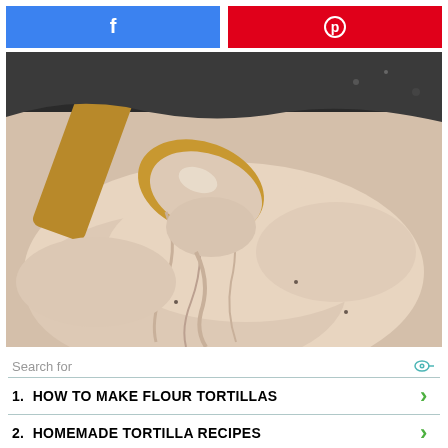[Figure (other): Facebook share button (blue) and Pinterest save button (red) side by side]
[Figure (photo): Close-up photo of creamy tortilla dough batter being lifted with a wooden spoon from a dark mixing bowl]
Search for
1.  HOW TO MAKE FLOUR TORTILLAS
2.  HOMEMADE TORTILLA RECIPES